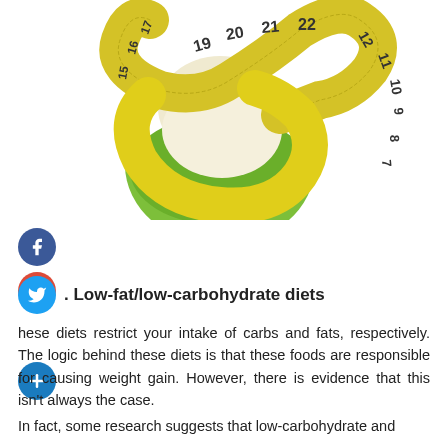[Figure (photo): A bitten green apple wrapped with a yellow measuring tape showing numbers, on a white background]
. Low-fat/low-carbohydrate diets
hese diets restrict your intake of carbs and fats, respectively. The logic behind these diets is that these foods are responsible for causing weight gain. However, there is evidence that this isn't always the case.
In fact, some research suggests that low-carbohydrate and